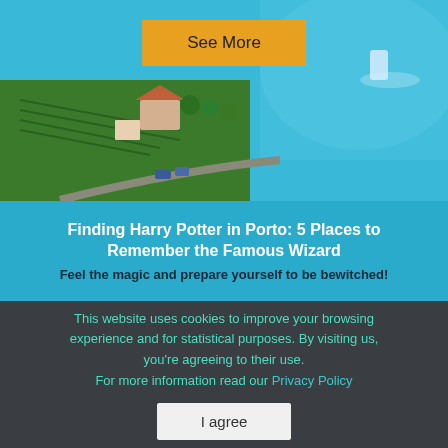[Figure (photo): Aerial view of a river valley with vineyards, buildings, trees, and a boat on a bright blue river]
See More
Finding Harry Potter in Porto: 5 Places to Remember the Famous Wizard
Feel the magic and prepare yourself to be bewitched!
This website uses cookies to improve your browsing experience and for statistical purposes. By visiting us, you're agreeing to their use.
For more information read our Privacy Policy
I agree